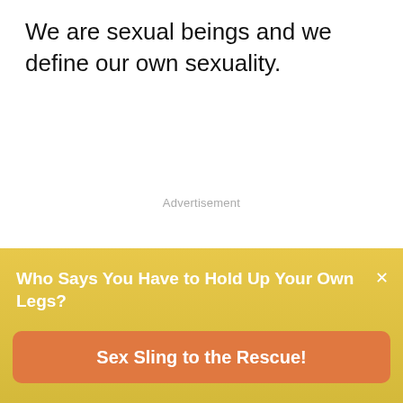We are sexual beings and we define our own sexuality.
Advertisement
Who Says You Have to Hold Up Your Own Legs?
Sex Sling to the Rescue!